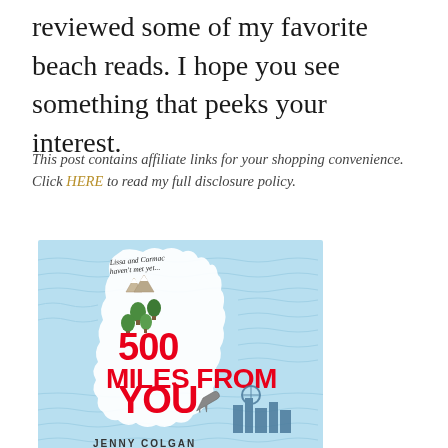reviewed some of my favorite beach reads. I hope you see something that peeks your interest.
This post contains affiliate links for your shopping convenience. Click HERE to read my full disclosure policy.
[Figure (illustration): Book cover of '500 Miles From You' by Jenny Colgan. Light blue background with wavy lines suggesting water/sea texture. White silhouette of Great Britain map in center. Text at top reads 'Lissa and Cormac haven't met yet...' in black handwriting. Large bold red text reads '500 MILES FROM YOU'. Illustrated elements include mountains, green trees, and city skyline buildings at bottom right. Bottom of image shows partial author name 'JENNY COLGAN'.]